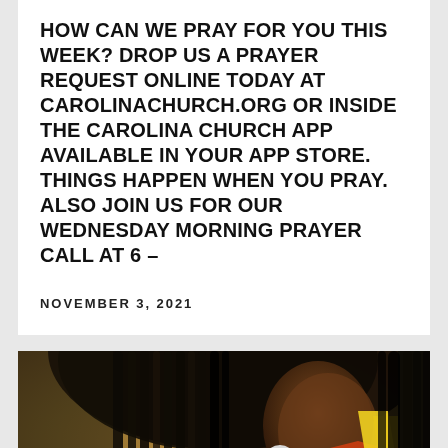HOW CAN WE PRAY FOR YOU THIS WEEK? DROP US A PRAYER REQUEST ONLINE TODAY AT CAROLINACHURCH.ORG OR INSIDE THE CAROLINA CHURCH APP AVAILABLE IN YOUR APP STORE. THINGS HAPPEN WHEN YOU PRAY. ALSO JOIN US FOR OUR WEDNESDAY MORNING PRAYER CALL AT 6 –
NOVEMBER 3, 2021
[Figure (photo): Close-up photo of a person with braided dreadlocks viewed from the side/back, wearing a colorful jacket with red, orange and yellow tones, with a silver hoop earring visible. Another person with dreadlocks visible on the right edge.]